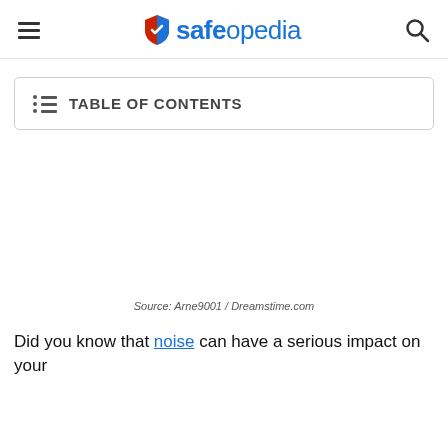safeopedia
TABLE OF CONTENTS
Source: Arne9001 / Dreamstime.com
Did you know that noise can have a serious impact on your